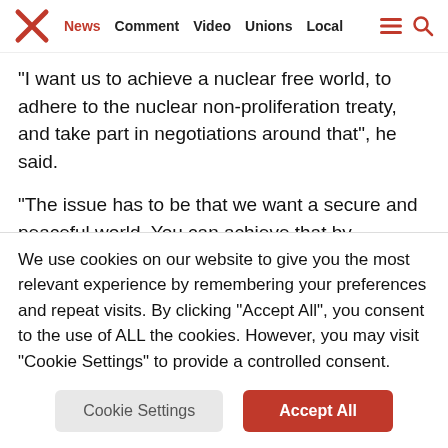News | Comment | Video | Unions | Local
“I want us to achieve a nuclear free world, to adhere to the nuclear non-proliferation treaty, and take part in negotiations around that”, he said.
“The issue has to be that we want a secure and peaceful world. You can achieve that by promoting peace and also promoting security”
We use cookies on our website to give you the most relevant experience by remembering your preferences and repeat visits. By clicking “Accept All”, you consent to the use of ALL the cookies. However, you may visit "Cookie Settings" to provide a controlled consent.